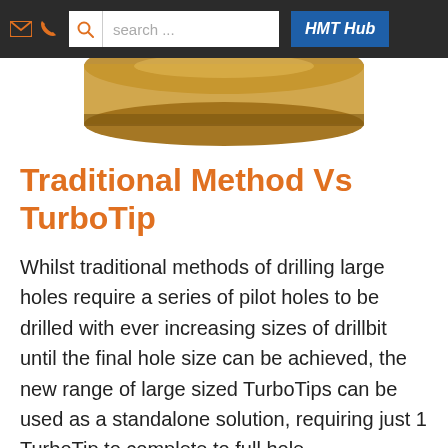search ... HMT Hub
[Figure (photo): Partial view of a TurboTip drill bit product, gold/bronze colored, shown from above against white background]
Traditional Method Vs TurboTip
Whilst traditional methods of drilling large holes require a series of pilot holes to be drilled with ever increasing sizes of drillbit until the final hole size can be achieved, the new range of large sized TurboTips can be used as a standalone solution, requiring just 1 TurboTip to complete to full hole.